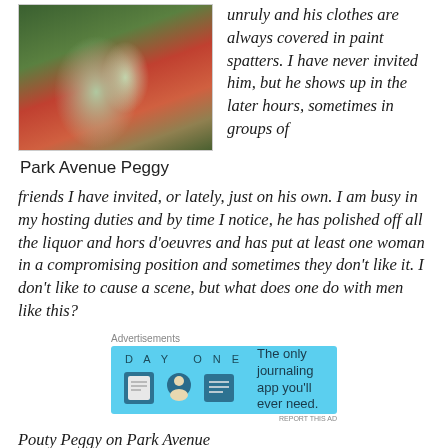[Figure (photo): A photo of draped green fabric or clothing items on a patterned surface]
Park Avenue Peggy
unruly and his clothes are always covered in paint spatters. I have never invited him, but he shows up in the later hours, sometimes in groups of friends I have invited, or lately, just on his own. I am busy in my hosting duties and by time I notice, he has polished off all the liquor and hors d'oeuvres and has put at least one woman in a compromising position and sometimes they don't like it. I don't like to cause a scene, but what does one do with men like this?
Advertisements
[Figure (screenshot): Day One app advertisement banner with blue background. Shows 'DAY ONE' text with app icons and tagline 'The only journaling app you'll ever need.']
Pouty Peggy on Park Avenue